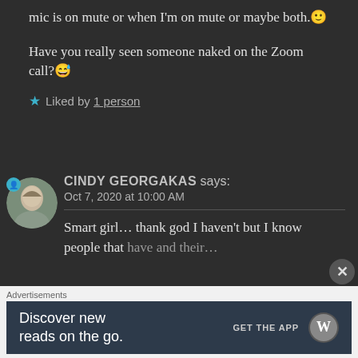mic is on mute or when I'm on mute or maybe both.🙂
Have you really seen someone naked on the Zoom call?😅
★ Liked by 1 person
CINDY GEORGAKAS says:
Oct 7, 2020 at 10:00 AM
Smart girl… thank god I haven't but I know people that have and they're…
Advertisements
Discover new reads on the go.  GET THE APP  [WordPress logo]